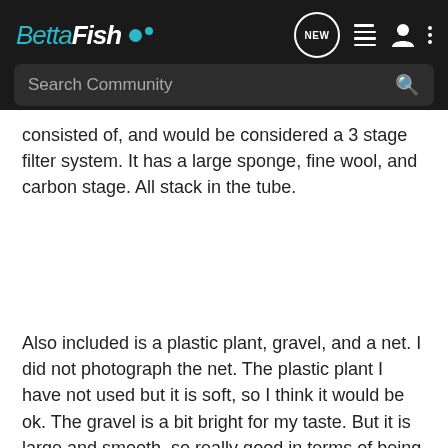Betta Fish — NEW (navigation bar with search)
consisted of, and would be considered a 3 stage filter system. It has a large sponge, fine wool, and carbon stage. All stack in the tube.
Also included is a plastic plant, gravel, and a net. I did not photograph the net. The plastic plant I have not used but it is soft, so I think it would be ok. The gravel is a bit bright for my taste. But it is large and smooth, so really good in terms of being safe for a betta. Ok it does just cover the bottom, but you could always add some more, but it is certainly enough to get